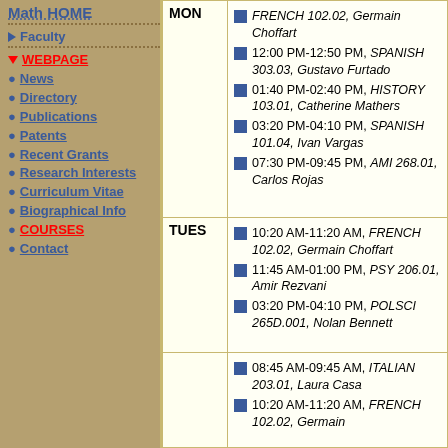Math HOME
Faculty
WEBPAGE
News
Directory
Publications
Patents
Recent Grants
Research Interests
Curriculum Vitae
Biographical Info
COURSES
Contact
| Day | Schedule |
| --- | --- |
| MON | FRENCH 102.02, Germain Choffart | 12:00 PM-12:50 PM, SPANISH 303.03, Gustavo Furtado | 01:40 PM-02:40 PM, HISTORY 103.01, Catherine Mathers | 03:20 PM-04:10 PM, SPANISH 101.04, Ivan Vargas | 07:30 PM-09:45 PM, AMI 268.01, Carlos Rojas |
| TUES | 10:20 AM-11:20 AM, FRENCH 102.02, Germain Choffart | 11:45 AM-01:00 PM, PSY 206.01, Amir Rezvani | 03:20 PM-04:10 PM, POLSCI 265D.001, Nolan Bennett |
| (WED) | 08:45 AM-09:45 AM, ITALIAN 203.01, Laura Casa | 10:20 AM-11:20 AM, FRENCH 102.02, Germain |